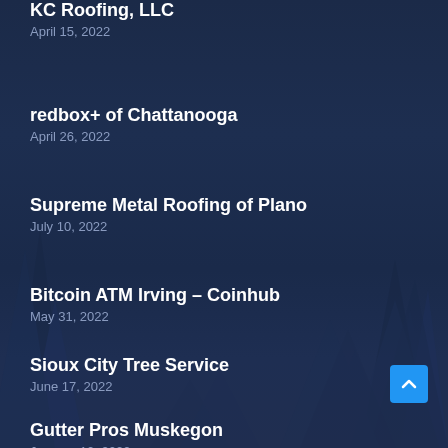KC Roofing, LLC
April 15, 2022
redbox+ of Chattanooga
April 26, 2022
Supreme Metal Roofing of Plano
July 10, 2022
Bitcoin ATM Irving – Coinhub
May 31, 2022
Sioux City Tree Service
June 17, 2022
Gutter Pros Muskegon
January 10, 2022